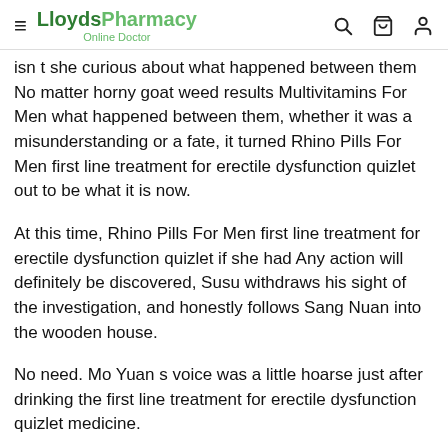LloydsPharmacy Online Doctor
isn t she curious about what happened between them No matter horny goat weed results Multivitamins For Men what happened between them, whether it was a misunderstanding or a fate, it turned Rhino Pills For Men first line treatment for erectile dysfunction quizlet out to be what it is now.
At this time, Rhino Pills For Men first line treatment for erectile dysfunction quizlet if she had Any action will definitely be discovered, Susu withdraws his sight of the investigation, and honestly follows Sang Nuan into the wooden house.
No need. Mo Yuan s voice was a little hoarse just after drinking the first line treatment for erectile dysfunction quizlet medicine.